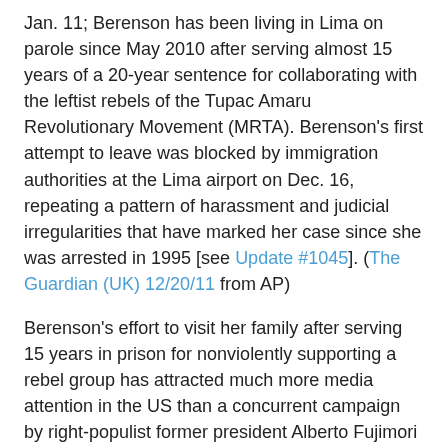Jan. 11; Berenson has been living in Lima on parole since May 2010 after serving almost 15 years of a 20-year sentence for collaborating with the leftist rebels of the Tupac Amaru Revolutionary Movement (MRTA). Berenson's first attempt to leave was blocked by immigration authorities at the Lima airport on Dec. 16, repeating a pattern of harassment and judicial irregularities that have marked her case since she was arrested in 1995 [see Update #1045]. (The Guardian (UK) 12/20/11 from AP)
Berenson's effort to visit her family after serving 15 years in prison for nonviolently supporting a rebel group has attracted much more media attention in the US than a concurrent campaign by right-populist former president Alberto Fujimori (1990-2000) to win a humanitarian pardon after serving just four years of a 25-year sentence for crimes that included the deaths of 25 people, two kidnappings, corruption and illicit enrichment [see Update #1019]. On Dec. 17 Fujimori's attorney, César Nakazaki, announced that the process of seeking a pardon on health grounds had already started and that a medical team would be releasing its findings on the physical condition of the 72-year-old former president, who